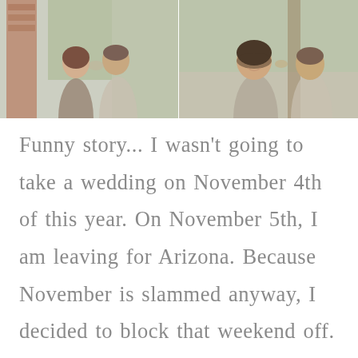[Figure (photo): Two side-by-side engagement/couple photos. Left: a couple leaning in close, man and woman facing each other outdoors near brick buildings. Right: a smiling woman with a man kissing her cheek outdoors.]
Funny story... I wasn't going to take a wedding on November 4th of this year. On November 5th, I am leaving for Arizona. Because November is slammed anyway, I decided to block that weekend off. Buuuuut then, Angela emailed me.  Like any